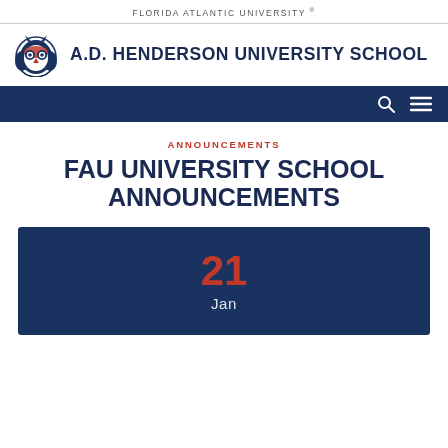FLORIDA ATLANTIC UNIVERSITY ®
[Figure (logo): FAU owl mascot logo — stylized owl face with blue and red coloring]
A.D. HENDERSON UNIVERSITY SCHOOL
[Figure (other): Dark blue navigation bar with search and hamburger menu icons]
ANNOUNCEMENTS
FAU UNIVERSITY SCHOOL ANNOUNCEMENTS
21 Jan